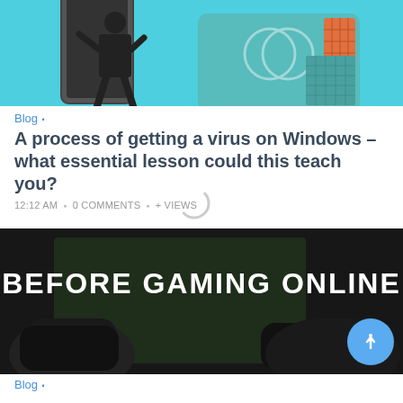[Figure (illustration): Illustration of a person in a suit climbing out of a smartphone screen next to credit card graphics on a cyan/teal background]
Blog .
A process of getting a virus on Windows – what essential lesson could this teach you?
12:12 AM • 0 COMMENTS • + VIEWS
[Figure (photo): Photo of hands holding gaming controllers in dark setting with text overlay 'BEFORE GAMING ONLINE']
Blog .